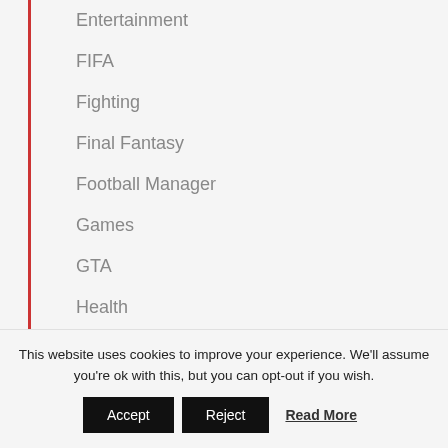Entertainment
FIFA
Fighting
Final Fantasy
Football Manager
Games
GTA
Health
Launchers
This website uses cookies to improve your experience. We'll assume you're ok with this, but you can opt-out if you wish.
Accept | Reject | Read More